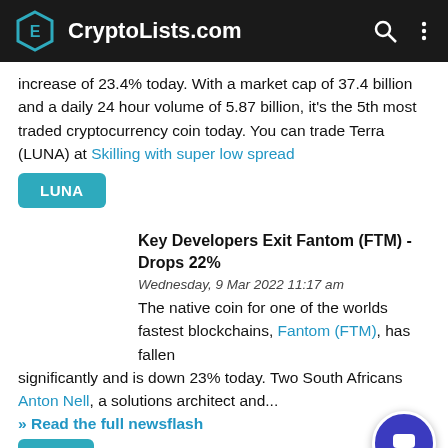CryptoLists.com
increase of 23.4% today. With a market cap of 37.4 billion and a daily 24 hour volume of 5.87 billion, it's the 5th most traded cryptocurrency coin today. You can trade Terra (LUNA) at Skilling with super low spread
LUNA
Key Developers Exit Fantom (FTM) - Drops 22%
Wednesday, 9 Mar 2022 11:17 am
The native coin for one of the worlds fastest blockchains, Fantom (FTM), has fallen significantly and is down 23% today. Two South Africans Anton Nell, a solutions architect and...
>> Read the full newsflash
FTM